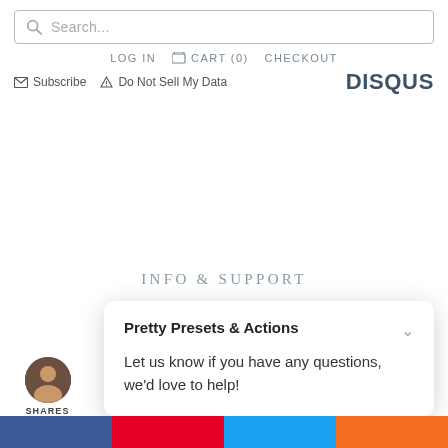Search...
LOG IN   CART (0)   CHECKOUT
Subscribe   Do Not Sell My Data   DISQUS
INFO & SUPPORT
Pretty Presets & Actions
Let us know if you have any questions, we'd love to help!
SHARES